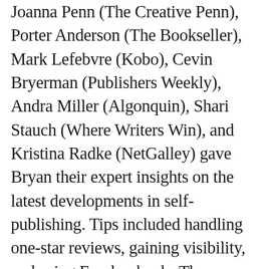Joanna Penn (The Creative Penn), Porter Anderson (The Bookseller), Mark Lefebvre (Kobo), Cevin Bryerman (Publishers Weekly), Andra Miller (Algonquin), Shari Stauch (Where Writers Win), and Kristina Radke (NetGalley) gave Bryan their expert insights on the latest developments in self-publishing. Tips included handling one-star reviews, gaining visibility, and using Facebook ads. The news focused on a new Goodreads change, the buyer's market vs. the reader's market, author attitudes, the odds of self-publishing success, and the acquisition of Overdrive by Kobo's parent company, Rakuten. This week's Question of the Week: If you became a successful author would your attitude change? If you found success would you be corrupted?